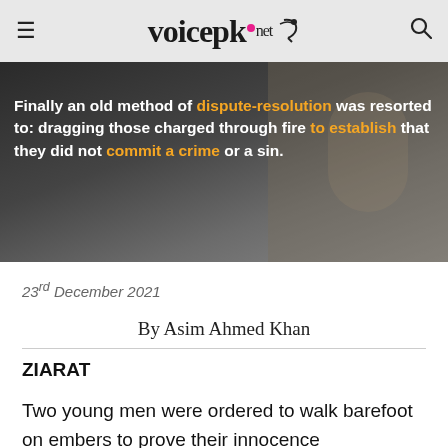voicepk.net
[Figure (photo): Dark background image with bold text overlay: 'Finally an old method of dispute-resolution was resorted to: dragging those charged through fire to establish that they did not commit a crime or a sin.']
23rd December 2021
By Asim Ahmed Khan
ZIARAT
Two young men were ordered to walk barefoot on embers to prove their innocence